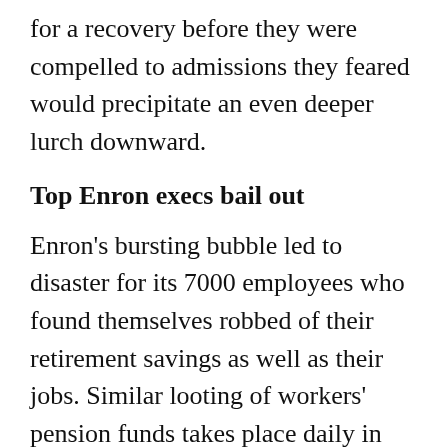for a recovery before they were compelled to admissions they feared would precipitate an even deeper lurch downward.
Top Enron execs bail out
Enron's bursting bubble led to disaster for its 7000 employees who found themselves robbed of their retirement savings as well as their jobs. Similar looting of workers' pension funds takes place daily in corporate America.
Enron's executives, tied to the Bush administration and to the general framework of corrupt capitalist politics, simply bailed out with their own billions relatively intact before